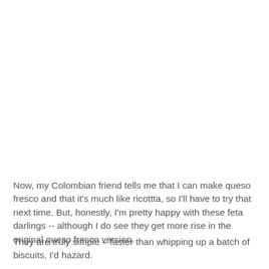Now, my Colombian friend tells me that I can make queso fresco and that it's much like ricottta, so I'll have to try that next time. But, honestly, I'm pretty happy with these feta darlings -- although I do see they get more rise in the original queso fresco version.
They are truly simple – faster than whipping up a batch of biscuits, I'd hazard.